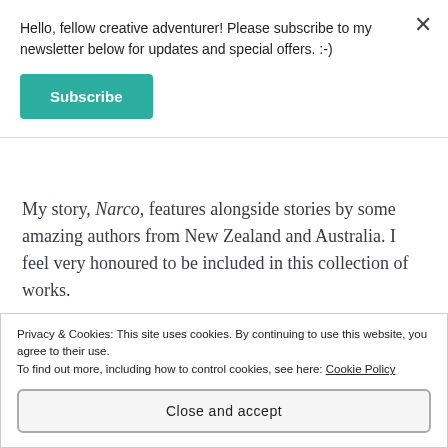Hello, fellow creative adventurer! Please subscribe to my newsletter below for updates and special offers. :-)
Subscribe
My story, Narco, features alongside stories by some amazing authors from New Zealand and Australia. I feel very honoured to be included in this collection of works.
Privacy & Cookies: This site uses cookies. By continuing to use this website, you agree to their use.
To find out more, including how to control cookies, see here: Cookie Policy
Close and accept